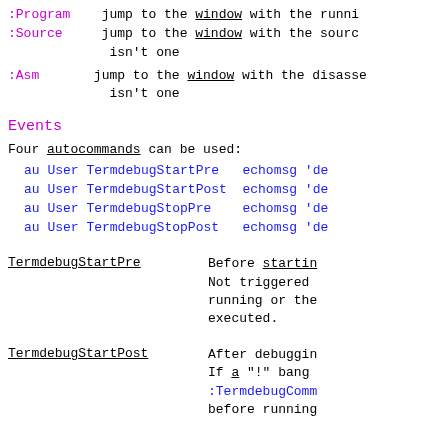:Program    jump to the window with the running
:Source     jump to the window with the source
               isn't one
:Asm        jump to the window with the disasse
               isn't one
Events
Four autocommands can be used:
au User TermdebugStartPre   echomsg 'de
    au User TermdebugStartPost  echomsg 'de
    au User TermdebugStopPre    echomsg 'de
    au User TermdebugStopPost   echomsg 'de
TermdebugStartPre    Before starting
                     Not triggered
                     running or the
                     executed.
TermdebugStartPost   After debugging
                     If a "!" bang
                     :TermdebugComm
                     before running